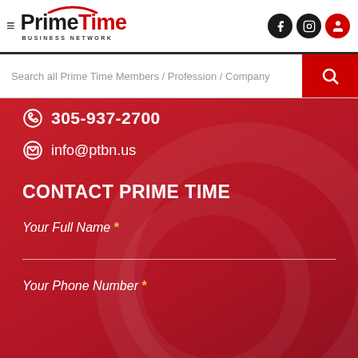PrimeTime Business Network
Search all Prime Time Members / Profession / Company
305-937-2700
info@ptbn.us
CONTACT PRIME TIME
Your Full Name *
Your Phone Number *